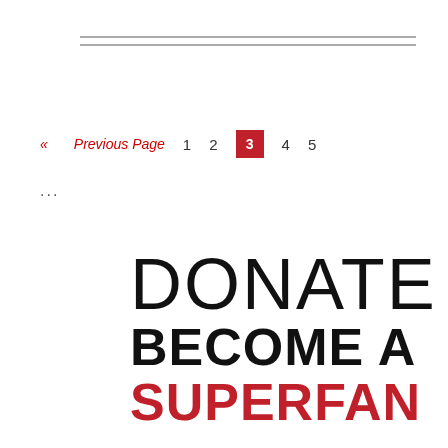— double rule —
« Previous Page   1   2   3   4   5
...
[Figure (infographic): Large typographic donation call-to-action: 'DONATE' in thin outline letters, 'BECOME A' in bold black, 'SUPERFAN' in bold red]